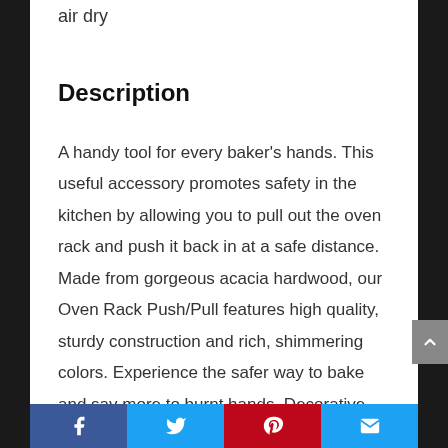air dry
Description
A handy tool for every baker's hands. This useful accessory promotes safety in the kitchen by allowing you to pull out the oven rack and push it back in at a safe distance. Made from gorgeous acacia hardwood, our Oven Rack Push/Pull features high quality, sturdy construction and rich, shimmering colors. Experience the safer way to bake and say more to burnt hands. Decorative functionality at its finest.
Facebook | Twitter | Pinterest | Email